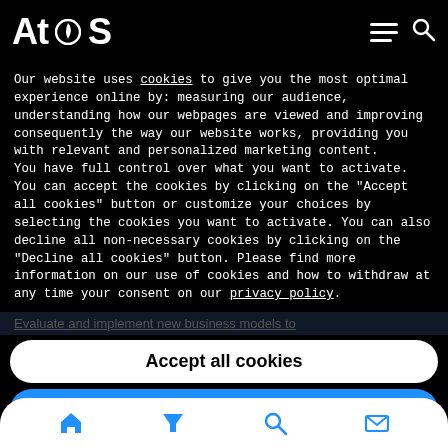Atos
Our website uses cookies to give you the most optimal experience online by: measuring our audience, understanding how our webpages are viewed and improving consequently the way our website works, providing you with relevant and personalized marketing content.
You have full control over what you want to activate. You can accept the cookies by clicking on the "Accept all cookies" button or customize your choices by selecting the cookies you want to activate. You can also decline all non-necessary cookies by clicking on the "Decline all cookies" button. Please find more information on our use of cookies and how to withdraw at any time your consent on our privacy policy.
Evaluate and implement new business models to
Accept all cookies
Decline all cookies
Customize
Privacy policy